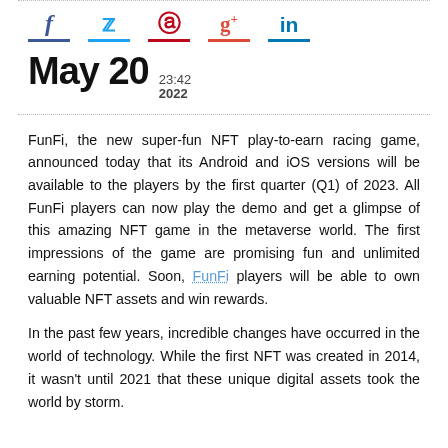[Figure (infographic): Social media share icons: Facebook (f), Twitter (bird), Pinterest (p), Google+ (g+), LinkedIn (in), each with a colored underline bar]
May 20  23:42  2022
FunFi, the new super-fun NFT play-to-earn racing game, announced today that its Android and iOS versions will be available to the players by the first quarter (Q1) of 2023. All FunFi players can now play the demo and get a glimpse of this amazing NFT game in the metaverse world. The first impressions of the game are promising fun and unlimited earning potential. Soon, FunFi players will be able to own valuable NFT assets and win rewards.
In the past few years, incredible changes have occurred in the world of technology. While the first NFT was created in 2014, it wasn't until 2021 that these unique digital assets took the world by storm.